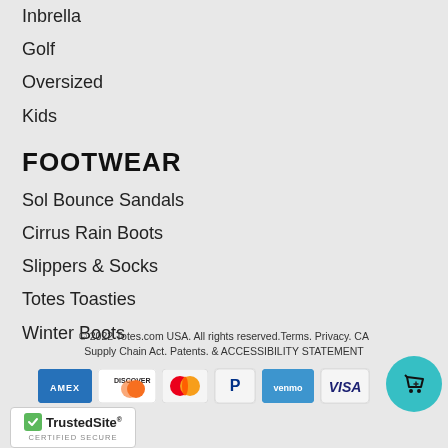Inbrella
Golf
Oversized
Kids
FOOTWEAR
Sol Bounce Sandals
Cirrus Rain Boots
Slippers & Socks
Totes Toasties
Winter Boots
© 2022 Totes.com USA. All rights reserved.Terms. Privacy. CA Supply Chain Act. Patents. & ACCESSIBILITY STATEMENT
[Figure (other): Payment method logos: American Express, Discover, Mastercard, PayPal, Venmo, Visa. TrustedSite certified secure badge. Shopping cart icon button.]